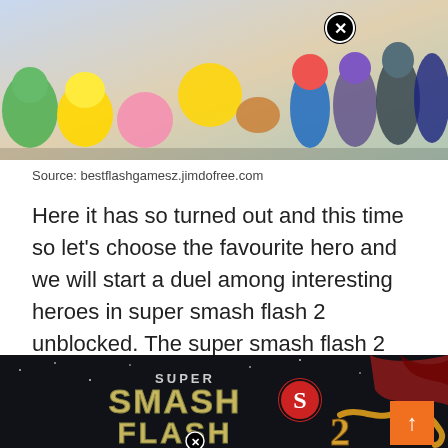[Figure (photo): Super Smash Bros characters lineup including Pikachu, Kirby, Pac-Man, Mario and other characters with a close X button overlay]
Source: bestflashgamesz.jimdofree.com
Here it has so turned out and this time so let's choose the favourite hero and we will start a duel among interesting heroes in super smash flash 2 unblocked. The super smash flash 2 unblocked games at school is going to be popular.
[Figure (screenshot): Super Smash Flash 2 game title screen with dark background, stylized logo text 'SUPER SMASH FLASH 2', a dragon wing graphic, orange arrow-up button, close X button, and version number v0.9]